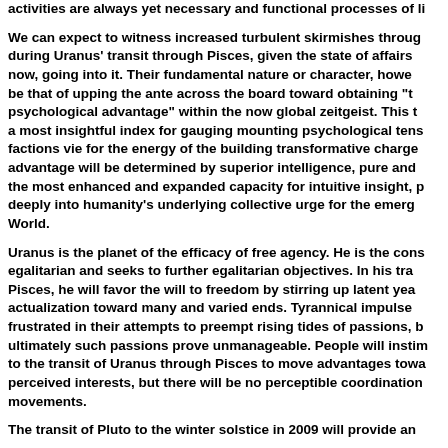activities are always yet necessary and functional processes of li...
We can expect to witness increased turbulent skirmishes through during Uranus' transit through Pisces, given the state of affairs now, going into it. Their fundamental nature or character, howe be that of upping the ante across the board toward obtaining "t psychological advantage" within the now global zeitgeist. This t a most insightful index for gauging mounting psychological tens factions vie for the energy of the building transformative charge advantage will be determined by superior intelligence, pure and the most enhanced and expanded capacity for intuitive insight, p deeply into humanity's underlying collective urge for the emerg World.
Uranus is the planet of the efficacy of free agency. He is the cons egalitarian and seeks to further egalitarian objectives. In his tra Pisces, he will favor the will to freedom by stirring up latent yea actualization toward many and varied ends. Tyrannical impulse frustrated in their attempts to preempt rising tides of passions, b ultimately such passions prove unmanageable. People will instim to the transit of Uranus through Pisces to move advantages towa perceived interests, but there will be no perceptible coordination movements.
The transit of Pluto to the winter solstice in 2009 will provide an...